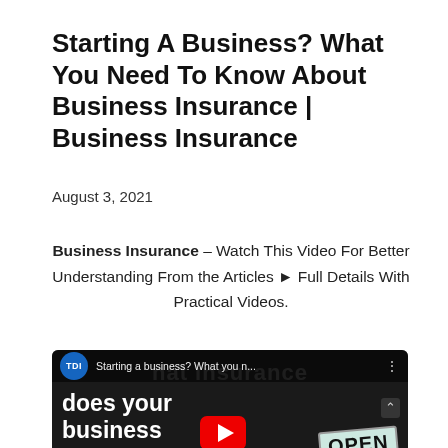Starting A Business? What You Need To Know About Business Insurance | Business Insurance
August 3, 2021
Business Insurance – Watch This Video For Better Understanding From the Articles ► Full Details With Practical Videos.
[Figure (screenshot): YouTube video thumbnail showing TDI logo, title 'Starting a business? What you n...' and text 'does your business' overlaid on a dark background with a YouTube play button and an OPEN sign visible]